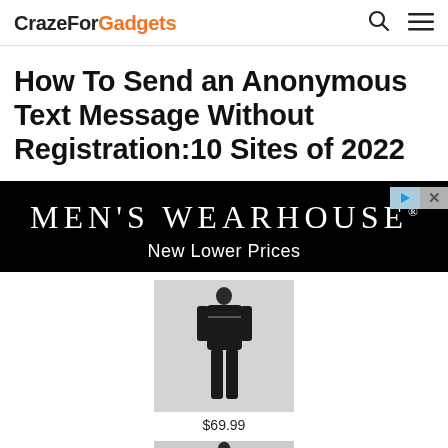CrazeForGadgets
How To Send an Anonymous Text Message Without Registration:10 Sites of 2022
[Figure (advertisement): Men's Wearhouse advertisement banner with black background, showing brand name 'MEN'S WEARHOUSE®' and tagline 'New Lower Prices', with product images showing suits priced at $69.99]